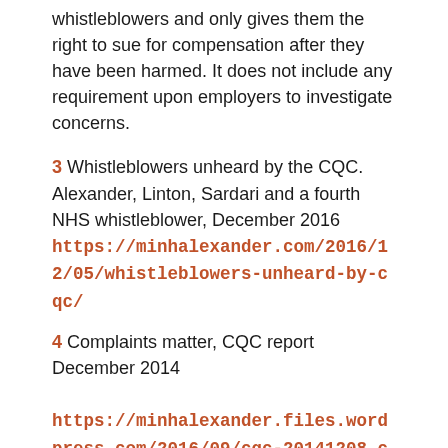whistleblowers and only gives them the right to sue for compensation after they have been harmed. It does not include any requirement upon employers to investigate concerns.
3 Whistleblowers unheard by the CQC. Alexander, Linton, Sardari and a fourth NHS whistleblower, December 2016 https://minhalexander.com/2016/12/05/whistleblowers-unheard-by-cqc/
4 Complaints matter, CQC report December 2014 https://minhalexander.files.wordpress.com/2016/09/cqc-20141208_complaints_matter_report.pdf
“People [whistleblowers] with historic cases also contact CQC in the hope that we can help resolve their concerns or hold a provider to account for its actions. While each case provides learning for us about the problems that can occur, and how we